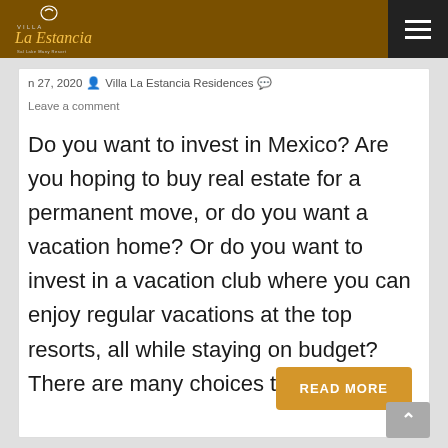[Figure (logo): Villa La Estancia logo on dark brown navigation bar with hamburger menu icon on right]
n 27, 2020  Villa La Estancia Residences  Leave a comment
Do you want to invest in Mexico? Are you hoping to buy real estate for a permanent move, or do you want a vacation home? Or do you want to invest in a vacation club where you can enjoy regular vacations at the top resorts, all while staying on budget? There are many choices to [...]
READ MORE